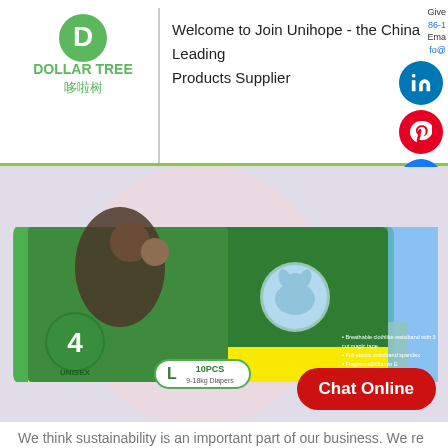[Figure (logo): Dollar Tree logo with green D emblem and Chinese characters 哆啦树]
Welcome to Join Unihope - the China Leading Products Supplier
Give us a call: 86-1...
Email: fo@...
[Figure (photo): Product photo of a diaper package - green and yellow packaging showing a mother holding a baby, labeled Size 4 UNISEX L 10PCS 9-18kg Diapers with elephant mascot]
Chat Online
We think sustainability is an important part of our business. We re